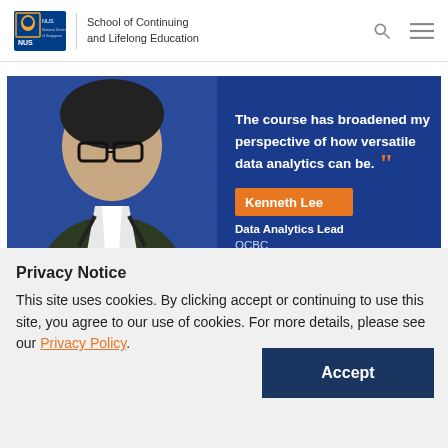NUS | School of Continuing and Lifelong Education
[Figure (photo): Promotional banner showing a young man with glasses on the left against a blue background, with a quote on the right: 'The course has broadened my perspective of how versatile data analytics can be.' Attributed to Kenneth Lee, Data Analytics Lead, OCBC.]
Banking on Data
Privacy Notice
This site uses cookies. By clicking accept or continuing to use this site, you agree to our use of cookies. For more details, please see our Privacy Policy.